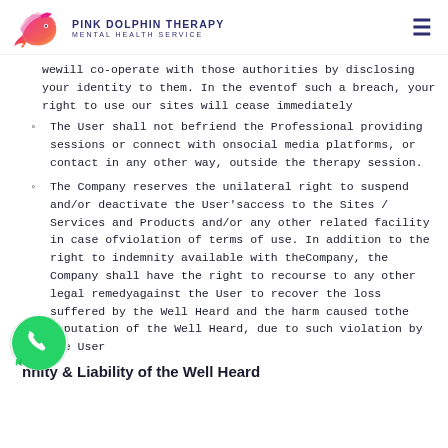PINK DOLPHIN THERAPY MENTAL HEALTH SERVICE
wewill co-operate with those authorities by disclosing your identity to them. In the eventof such a breach, your right to use our sites will cease immediately
The User shall not befriend the Professional providing sessions or connect with onsocial media platforms, or contact in any other way, outside the therapy session.
The Company reserves the unilateral right to suspend and/or deactivate the User'saccess to the Sites / Services and Products and/or any other related facility in case ofviolation of terms of use. In addition to the right to indemnity available with theCompany, the Company shall have the right to recourse to any other legal remedyagainst the User to recover the loss suffered by the Well Heard and the harm caused tothe reputation of the Well Heard, due to such violation by the User
nnity & Liability of the Well Heard